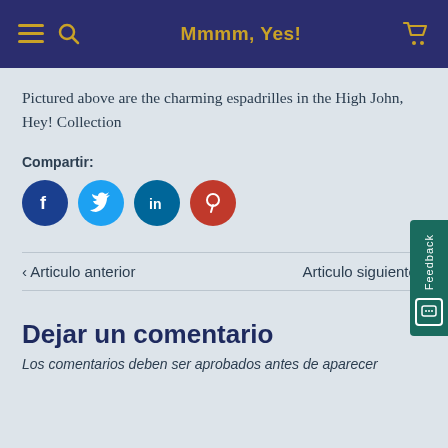Mmmm, Yes!
Pictured above are the charming espadrilles in the High John, Hey! Collection
Compartir:
[Figure (other): Social media share icons: Facebook, Twitter, LinkedIn, Pinterest]
‹ Articulo anterior
Articulo siguiente ›
Dejar un comentario
Los comentarios deben ser aprobados antes de aparecer